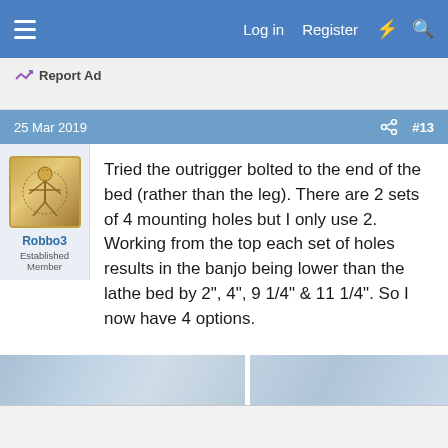Log in  Register
Report Ad
25 Mar 2019   #13
Robbo3
Established Member
Tried the outrigger bolted to the end of the bed (rather than the leg). There are 2 sets of 4 mounting holes but I only use 2. Working from the top each set of holes results in the banjo being lower than the lathe bed by 2", 4", 9 1/4" & 11 1/4". So I now have 4 options.
[Figure (photo): Partial view of two workshop/lathe photos at the bottom of the post]
Report Ad
Dine-in  Curbside pickup